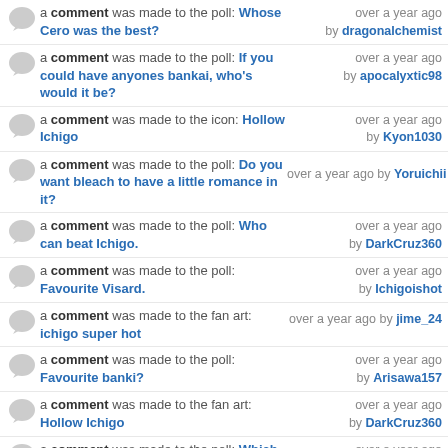a comment was made to the poll: Whose Cero was the best? — over a year ago by dragonalchemist
a comment was made to the poll: If you could have anyones bankai, who's would it be? — over a year ago by apocalyxtic98
a comment was made to the icon: Hollow Ichigo — over a year ago by Kyon1030
a comment was made to the poll: Do you want bleach to have a little romance in it? — over a year ago by Yoruichii
a comment was made to the poll: Who can beat Ichigo. — over a year ago by DarkCruz360
a comment was made to the poll: Favourite Visard. — over a year ago by Ichigoishot
a comment was made to the fan art: ichigo super hot — over a year ago by jime_24
a comment was made to the poll: Favourite banki? — over a year ago by Arisawa157
a comment was made to the fan art: Hollow Ichigo — over a year ago by DarkCruz360
a comment was made to the poll: Which Hollow Form do you prefer? — over a year ago by DarkCruz360
a comment was made to the poll: Who's stronger? — over a year ago by blackpanther666
a comment was made to the poll: who should control wakomundo — over a year ago by blackpanther666
a comment was made to the photo: — over a year ago